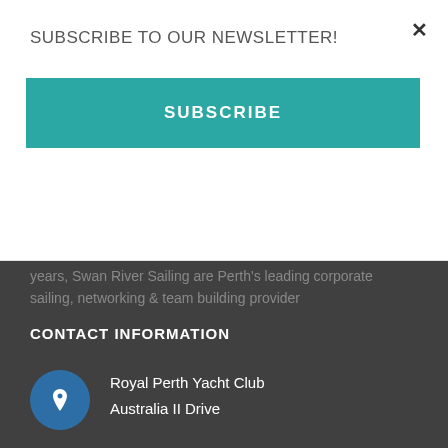SUBSCRIBE TO OUR NEWSLETTER!
SUBSCRIBE
years, Swan River Sailing are Perth's leading corporate sailing, networking & team building provider
CONTACT INFORMATION
Royal Perth Yacht Club
Australia II Drive
Crawley WA 6009
+61 8 9386 9488
9am to 5pm,
Monday to Friday